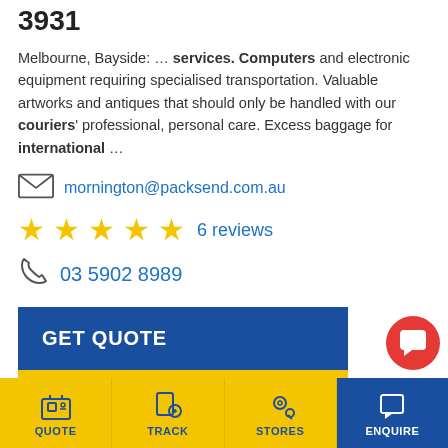3931
Melbourne, Bayside: … services. Computers and electronic equipment requiring specialised transportation. Valuable artworks and antiques that should only be handled with our couriers' professional, personal care. Excess baggage for international …
mornington@packsend.com.au
6 reviews
03 5902 8989
GET QUOTE
VIEW DETAILS →
PACK & SEND Salisbury
QUOTE  TRACK  STORES  ENQUIRE